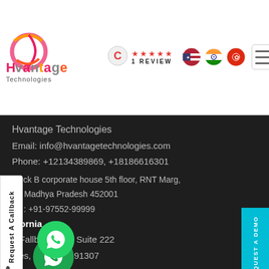[Figure (logo): Hvantage Technologies logo with colorful swirl and pink/orange brand name text]
[Figure (infographic): Clutch review badge showing 4 red stars and '1 REVIEW' text]
[Figure (infographic): Three country flag icons: USA, India, Hong Kong]
[Figure (infographic): Hamburger/menu icon in rounded rectangle]
Hvantage Technologies
Email: info@hvantagetechnologies.com
Phone: +12134389869, +18186616301
block B corporate house 5th floor, RNT Marg, re, Madhya Pradesh 452001
ne : +91-97552-99999
lifornia
0 Fallbrook Ave Suite 222
eles, California 91307
91 Rue du Faubourg St Honoré, 75008 Paris, France
[Figure (infographic): Request A Callback vertical tab on left side]
[Figure (infographic): REQUEST A DEMO cyan vertical button on right side]
[Figure (infographic): WhatsApp green circle bubble icons at bottom left]